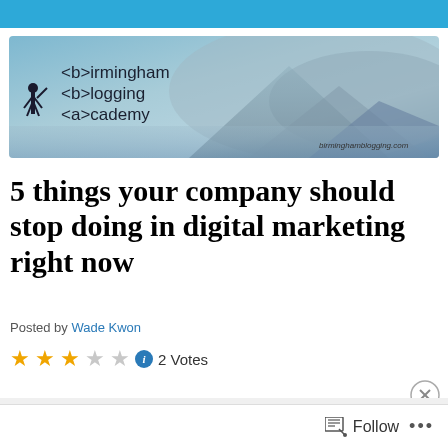[Figure (illustration): Birmingham Blogging Academy banner with blue/grey misty mountain background, silhouette figure on left, text reading '<b>irmingham <b>logging <a>cademy' and URL birminghamblogging.com at bottom right]
5 things your company should stop doing in digital marketing right now
Posted by Wade Kwon
★★★☆☆ ⓘ 2 Votes
Advertisements
[Figure (screenshot): LONGREADS advertisement banner in red with white logo and horizontal lines]